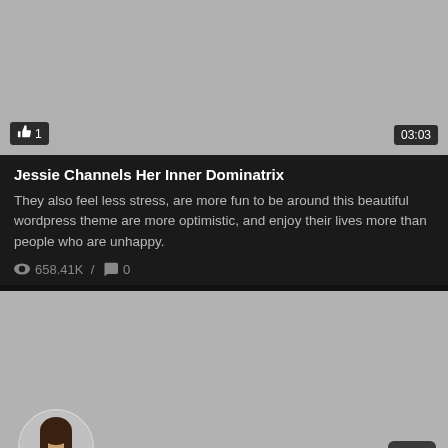[Figure (screenshot): Video thumbnail placeholder (gray rectangle) with like count badge showing thumbs up icon and '1' at bottom left, and duration badge showing '03:03' at bottom right]
Jessie Channels Her Inner Dominatrix
They also feel less stress, are more fun to be around this beautiful wordpress theme are more optimistic, and enjoy their lives more than people who are unhappy.
658.41K / 0
[Figure (screenshot): Second video thumbnail placeholder (gray rectangle) with a circular avatar photo of a smiling woman with dark hair in the lower left, a back-to-top arrow button in lower right, and bottom badges showing '1.92K' likes and '03:03' duration]